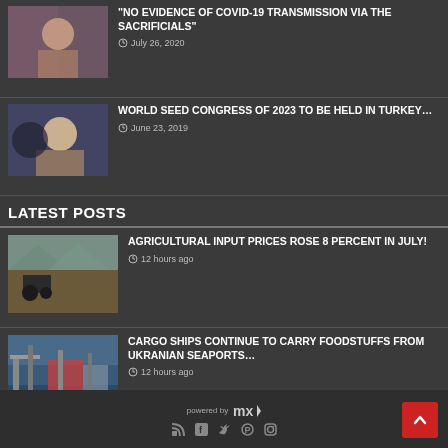"NO EVIDENCE OF COVID-19 TRANSMISSION VIA THE SACRIFICIALS"
© July 26, 2020
WORLD SEED CONGRESS OF 2023 TO BE HELD IN TURKEY…
© June 23, 2019
LATEST POSTS
AGRICULTURAL INPUT PRICES ROSE 8 PERCENT IN JULY!
© 12 hours ago
CARGO SHIPS CONTINUE TO CARRY FOODSTUFFS FROM UKRANIAN SEAPORTS…
© 12 hours ago
powered by [logo] | social icons: RSS, Facebook, Twitter, Pinterest, Instagram